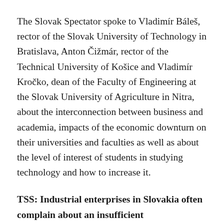The Slovak Spectator spoke to Vladimír Báleš, rector of the Slovak University of Technology in Bratislava, Anton Čižmár, rector of the Technical University of Košice and Vladimír Kročko, dean of the Faculty of Engineering at the Slovak University of Agriculture in Nitra, about the interconnection between business and academia, impacts of the economic downturn on their universities and faculties as well as about the level of interest of students in studying technology and how to increase it.
TSS: Industrial enterprises in Slovakia often complain about an insufficient interconnection between academic education and practical experience. What challenges has your university been facing in this sphere?